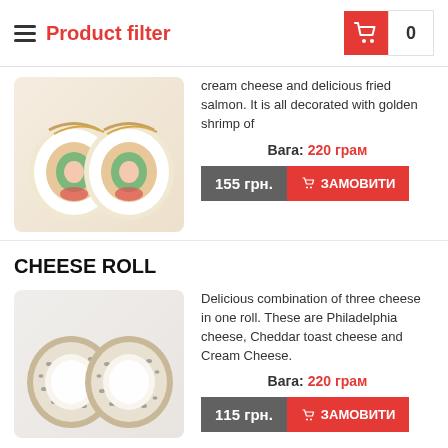Product filter
cream cheese and delicious fried salmon. It is all decorated with golden shrimp of
Вага: 220 грам
155 грн.  ЗАМОВИТИ
[Figure (photo): Sushi rolls with salmon, cucumber, cream cheese and golden fried shrimp topping]
CHEESE ROLL
Delicious combination of three cheese in one roll. These are Philadelphia cheese, Cheddar toast cheese and Cream Cheese.
Вага: 220 грам
115 грн.  ЗАМОВИТИ
[Figure (photo): Cheese roll sushi — two pieces showing white cream cheese filling, coated in sesame seeds]